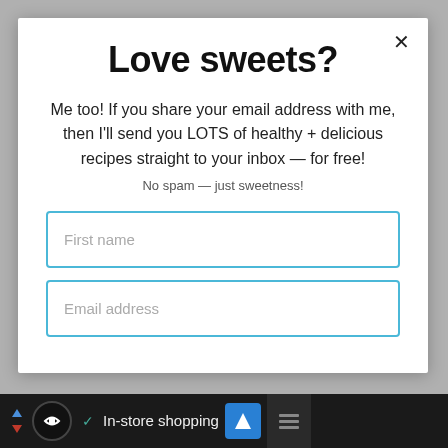Love sweets?
Me too! If you share your email address with me, then I'll send you LOTS of healthy + delicious recipes straight to your inbox — for free!
No spam — just sweetness!
First name
Email address
In-store shopping